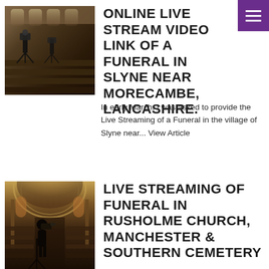[Figure (photo): Photo of a church interior with camera equipment set up for live streaming, showing pews and windows]
ONLINE LIVE STREAM VIDEO LINK OF A FUNERAL IN SLYNE NEAR MORECAMBE, LANCASHIRE.
In early March, I was asked to provide the Live Streaming of a Funeral in the village of Slyne near... View Article
[Figure (photo): Photo of a cameraman with equipment inside an ornate domed church, filming down the aisle with pews visible]
LIVE STREAMING OF FUNERAL IN RUSHOLME CHURCH, MANCHESTER & SOUTHERN CEMETERY